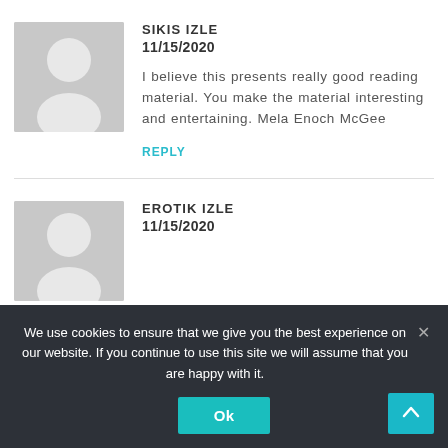[Figure (illustration): Generic user avatar silhouette on grey background]
SIKIS IZLE
11/15/2020
I believe this presents really good reading material. You make the material interesting and entertaining. Mela Enoch McGee
REPLY
[Figure (illustration): Generic user avatar silhouette on grey background]
EROTIK IZLE
11/15/2020
We use cookies to ensure that we give you the best experience on our website. If you continue to use this site we will assume that you are happy with it.